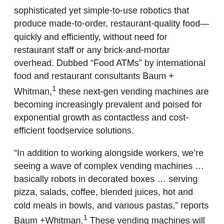sophisticated yet simple-to-use robotics that produce made-to-order, restaurant-quality food—quickly and efficiently, without need for restaurant staff or any brick-and-mortar overhead. Dubbed “Food ATMs” by international food and restaurant consultants Baum + Whitman,¹ these next-gen vending machines are becoming increasingly prevalent and poised for exponential growth as contactless and cost-efficient foodservice solutions.
“In addition to working alongside workers, we’re seeing a wave of complex vending machines … basically robots in decorated boxes … serving pizza, salads, coffee, blended juices, hot and cold meals in bowls, and various pastas,” reports Baum +Whitman.¹ These vending machines will be placed in supermarkets, office buildings, hospitals and schools, and even some restaurants will use them to supplement their own hand-labor production.¹